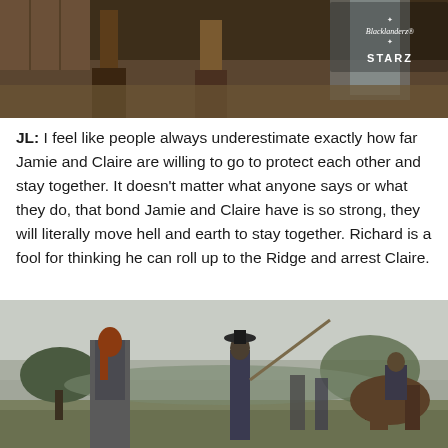[Figure (photo): Scene from Outlander showing lower legs and boots of characters in a rustic barn or stable setting, with Blacklanderz and STARZ watermark overlay in upper right.]
JL: I feel like people always underestimate exactly how far Jamie and Claire are willing to go to protect each other and stay together. It doesn't matter what anyone says or what they do, that bond Jamie and Claire have is so strong, they will literally move hell and earth to stay together. Richard is a fool for thinking he can roll up to the Ridge and arrest Claire.
[Figure (photo): Outdoor scene from Outlander showing a red-haired character in period clothing viewed from behind facing a soldier with a pike/spear, with trees and a field in the background. Additional soldiers on horseback visible.]